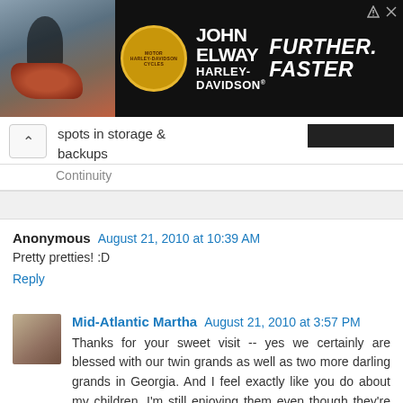[Figure (screenshot): John Elway Harley-Davidson advertisement banner with motorcycle photo, shield logo, and 'Further. Faster.' tagline]
spots in storage & backups
Continuity
Anonymous  August 21, 2010 at 10:39 AM
Pretty pretties! :D
Reply
[Figure (photo): Avatar photo of Mid-Atlantic Martha]
Mid-Atlantic Martha  August 21, 2010 at 3:57 PM
Thanks for your sweet visit -- yes we certainly are blessed with our twin grands as well as two more darling grands in Georgia. And I feel exactly like you do about my children, I'm still enjoying them even though they're grown and gone. Love your Christmas goodies -- lovely trees and lots of